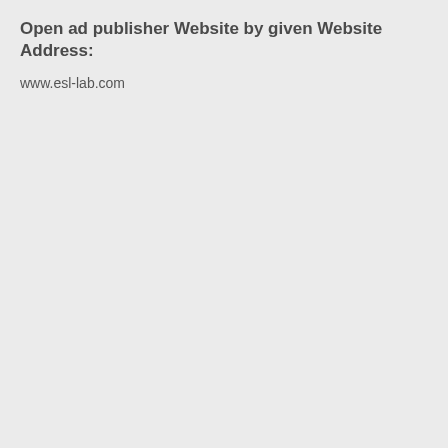Open ad publisher Website by given Website Address:
www.esl-lab.com